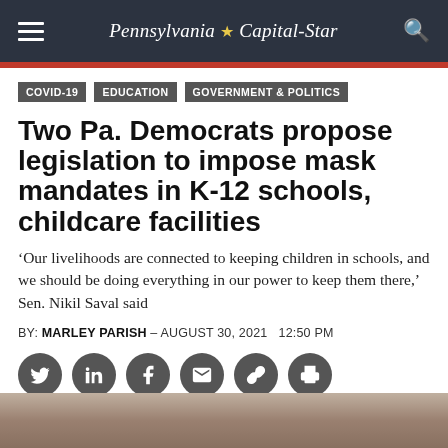Pennsylvania Capital-Star
COVID-19
EDUCATION
GOVERNMENT & POLITICS
Two Pa. Democrats propose legislation to impose mask mandates in K-12 schools, childcare facilities
‘Our livelihoods are connected to keeping children in schools, and we should be doing everything in our power to keep them there,’ Sen. Nikil Saval said
BY: MARLEY PARISH – AUGUST 30, 2021  12:50 PM
[Figure (other): Social media sharing icons: Twitter, LinkedIn, Facebook, Email, Link, Print]